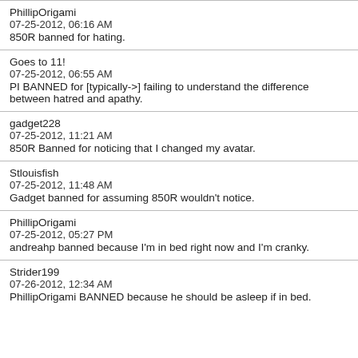PhillipOrigami
07-25-2012, 06:16 AM
850R banned for hating.
Goes to 11!
07-25-2012, 06:55 AM
PI BANNED for [typically->] failing to understand the difference between hatred and apathy.
gadget228
07-25-2012, 11:21 AM
850R Banned for noticing that I changed my avatar.
Stlouisfish
07-25-2012, 11:48 AM
Gadget banned for assuming 850R wouldn't notice.
PhillipOrigami
07-25-2012, 05:27 PM
andreahp banned because I'm in bed right now and I'm cranky.
Strider199
07-26-2012, 12:34 AM
PhillipOrigami BANNED because he should be asleep if in bed.